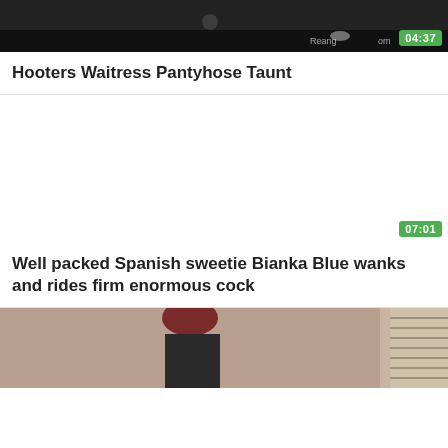[Figure (screenshot): Video thumbnail — dark scene, person visible, duration badge 04:37 in green top right, watermark text partially visible]
Hooters Waitress Pantyhose Taunt
[Figure (screenshot): Video thumbnail — white/blank area with duration badge 07:01 in green bottom right]
Well packed Spanish sweetie Bianka Blue wanks and rides firm enormous cock
[Figure (photo): Video thumbnail — woman with red hair visible from waist up, beige background, partial view of blinds on right side]